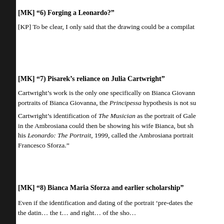[MK] “6) Forging a Leonardo?”
[KP] To be clear, I only said that the drawing could be a compilat
[MK] “7) Pisarek’s reliance on Julia Cartwright”
Cartwright’s work is the only one specifically on Bianca Giovann… portraits of Bianca Giovanna, the Principessa hypothesis is not su…
Cartwright’s identification of The Musician as the portrait of Gale… in the Ambrosiana could then be showing his wife Bianca, but sh… his Leonardo: The Portrait, 1999, called the Ambrosiana portrait… Francesco Sforza.”
[MK] “8) Bianca Maria Sforza and earlier scholarship”
Even if the identification and dating of the portrait ‘pre-dates the… the datin… the t… and right… of the sho…